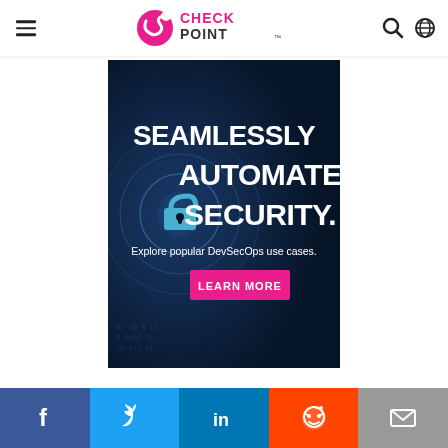CHECK POINT
[Figure (screenshot): Check Point advertisement banner: dark navy blue background with a padlock icon on the left, large white bold text reads 'SEAMLESSLY AUTOMATE SECURITY.' with smaller text below 'Explore popular DevSecOps use cases.' and a pink/magenta button labeled 'LEARN MORE']
[Figure (infographic): Social media sharing bar with five buttons: Facebook (dark blue), Twitter (light blue), LinkedIn (blue), Reddit (orange), Email (gray)]